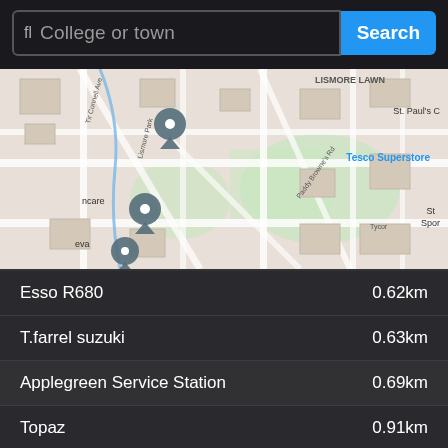[Figure (screenshot): Search bar with text input placeholder 'College or town' and a blue 'Search' button]
[Figure (map): Google Maps style street map showing Lismore Lawn area with Tesco Superstore label, Paddy Browne's Rd, Tir Connell Ave, Lismore Park, and various map pins including location markers and a shopping cart icon]
Esso R680    0.62km
T.farrel suzuki    0.63km
Applegreen Service Station    0.69km
Topaz    0.91km
Maxol Service Station, Kingsmo    0.95km
Supermarket
Tesco    0.25km